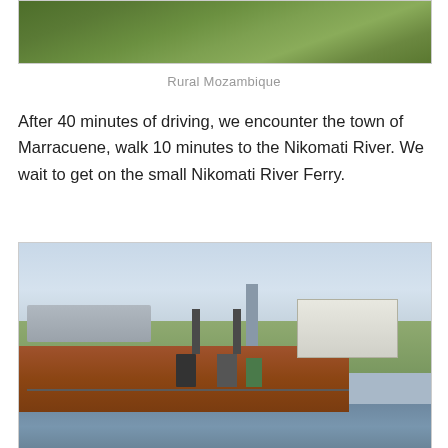[Figure (photo): Top portion of a photo showing rural Mozambique vegetation — dense green shrubs and grassland]
Rural Mozambique
After 40 minutes of driving, we encounter the town of Marracuene, walk 10 minutes to the Nikomati River. We wait to get on the small Nikomati River Ferry.
[Figure (photo): Photo of the Nikomati River Ferry — a flat cargo barge with a white pilot cabin, several people standing on the rust-orange deck, a bridge visible in the background, power lines and pylons, with calm river water surrounding the ferry]